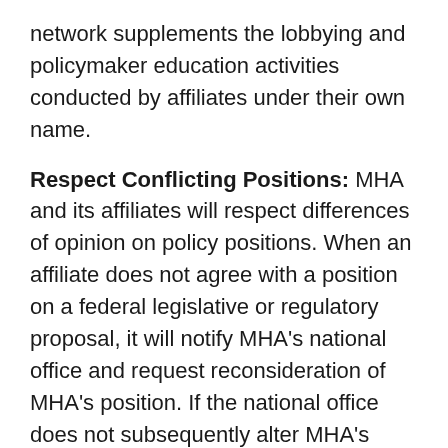network supplements the lobbying and policymaker education activities conducted by affiliates under their own name.
Respect Conflicting Positions: MHA and its affiliates will respect differences of opinion on policy positions. When an affiliate does not agree with a position on a federal legislative or regulatory proposal, it will notify MHA's national office and request reconsideration of MHA's position. If the national office does not subsequently alter MHA's position and the affiliate still feels that it cannot in good conscience support the position, it may withhold its support. However, affiliates will not actively work to oppose MHA's position on federal legislation or federal regulatory changes or support federal legislation that contradicts MHA's national legislative agenda.